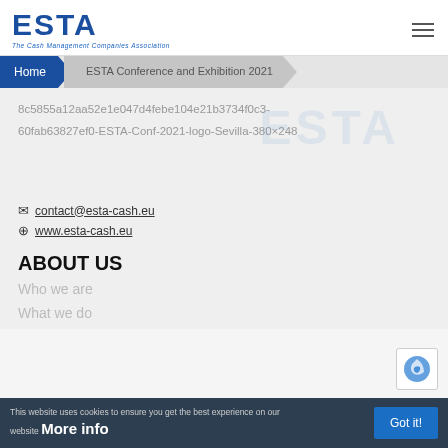[Figure (logo): ESTA logo — The Cash Management Companies Association]
Home > ESTA Conference and Exhibition 2021
8c5855a12aa52e1e047d4febe104e21b3734f0c3-60fab63827ef0-ESTA-Conf-2021-logo-Sevilla-380×248
contact@esta-cash.eu
www.esta-cash.eu
ABOUT US
Who we are
What we do
This website uses cookies to ensure you get the best experience on our website More info   Got it!